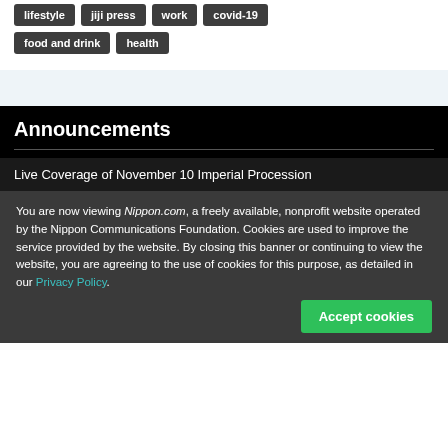lifestyle
jiji press
work
covid-19
food and drink
health
Announcements
Live Coverage of November 10 Imperial Procession
You are now viewing Nippon.com, a freely available, nonprofit website operated by the Nippon Communications Foundation. Cookies are used to improve the service provided by the website. By closing this banner or continuing to view the website, you are agreeing to the use of cookies for this purpose, as detailed in our Privacy Policy.
Accept cookies